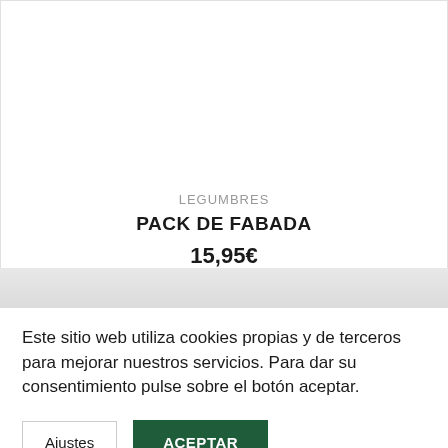LEGUMBRES
PACK DE FABADA
15,95€
Este sitio web utiliza cookies propias y de terceros para mejorar nuestros servicios. Para dar su consentimiento pulse sobre el botón aceptar.
Ajustes
ACEPTAR